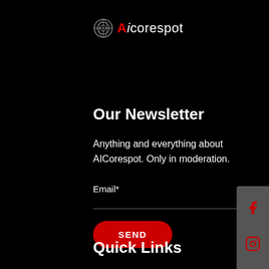[Figure (logo): AicoreSpot logo with stylized globe/network icon and text 'Ai corespot' where 'Ai' is styled with red N]
Our Newsletter
Anything and everything about AICorespot. Only in moderation.
Email*
SEND
Quick Links
[Figure (infographic): Social media sidebar with Facebook, Instagram, Twitter, and LinkedIn icons in red on grey background]